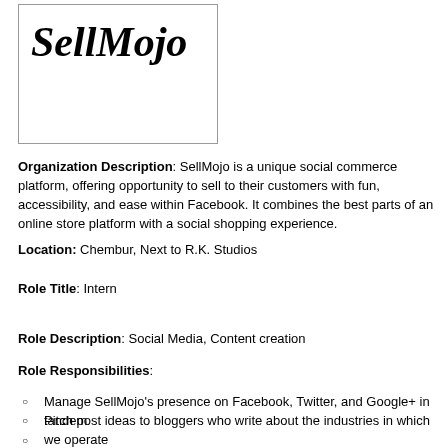[Figure (logo): SellMojo logo — stylized script text 'SellMojo' in bold italic font inside a bordered box]
Organization Description: SellMojo is a unique social commerce platform, offering opportunity to sell to their customers with fun, accessibility, and ease within Facebook. It combines the best parts of an online store platform with a social shopping experience.
Location: Chembur, Next to R.K. Studios
Role Title: Intern
Role Description: Social Media, Content creation
Role Responsibilities:
Manage SellMojo's presence on Facebook, Twitter, and Google+ in tandem
Pitch post ideas to bloggers who write about the industries in which we operate